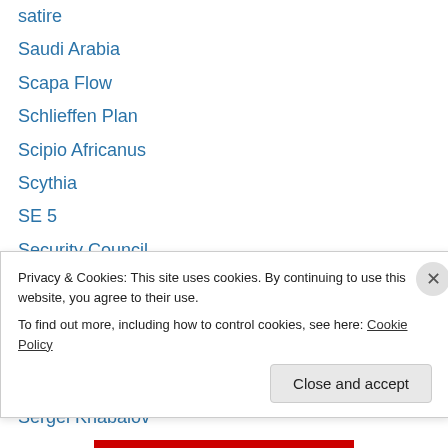satire
Saudi Arabia
Scapa Flow
Schlieffen Plan
Scipio Africanus
Scythia
SE 5
Security Council
Seleucids
Senate
Sennacherib
Serbia
Sergei Khabalov
Privacy & Cookies: This site uses cookies. By continuing to use this website, you agree to their use. To find out more, including how to control cookies, see here: Cookie Policy
Close and accept